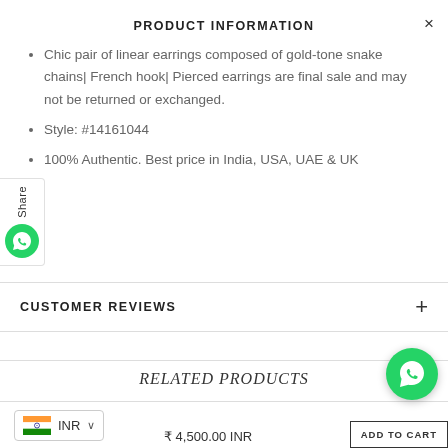PRODUCT INFORMATION
Chic pair of linear earrings composed of gold-tone snake chains| French hook| Pierced earrings are final sale and may not be returned or exchanged.
Style: #14161044
100% Authentic. Best price in India, USA, UAE & UK
CUSTOMER REVIEWS
RELATED PRODUCTS
₹ 4,500.00 INR
ADD TO CART
INR
[Figure (screenshot): WhatsApp share widget on left side]
[Figure (logo): WhatsApp floating action button, green circle with phone icon]